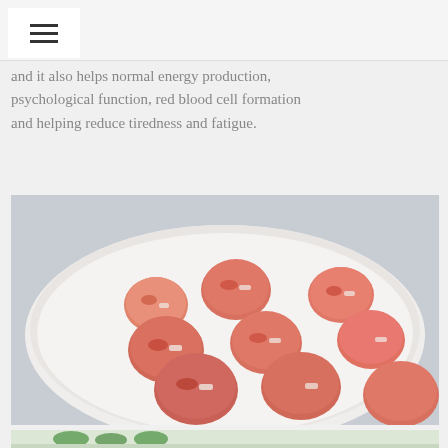[Figure (other): Hamburger menu icon in white box]
and it also helps normal energy production, psychological function, red blood cell formation and helping reduce tiredness and fatigue.
[Figure (photo): Raw salmon or meat balls with diced vegetables (red onion, carrot) arranged on a white scalloped ceramic dish, photographed from above at an angle]
[Figure (photo): Partial view of a salad with cucumber and greens at the bottom of the page]